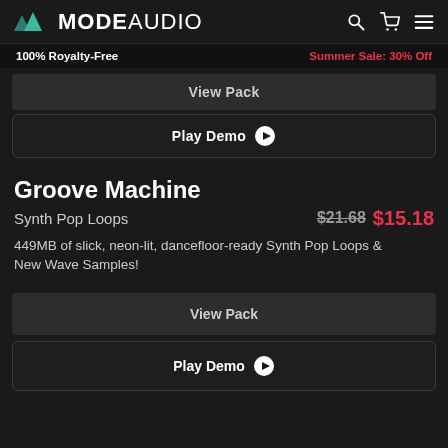MODE AUDIO — 100% Royalty-Free | Summer Sale: 30% Off
View Pack
Play Demo
Groove Machine
Synth Pop Loops  $21.68  $15.18
449MB of slick, neon-lit, dancefloor-ready Synth Pop Loops & New Wave Samples!
View Pack
Play Demo